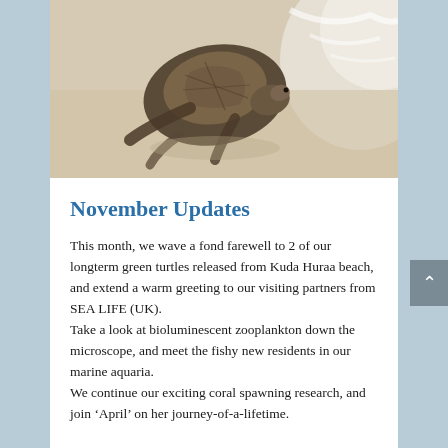[Figure (photo): A sea turtle on a sandy beach with ocean waves in the background, viewed from above at an angle.]
November Updates
This month, we wave a fond farewell to 2 of our longterm green turtles released from Kuda Huraa beach, and extend a warm greeting to our visiting partners from SEA LIFE (UK).
Take a look at bioluminescent zooplankton down the microscope, and meet the fishy new residents in our marine aquaria.
We continue our exciting coral spawning research, and join ‘April’ on her journey-of-a-lifetime.